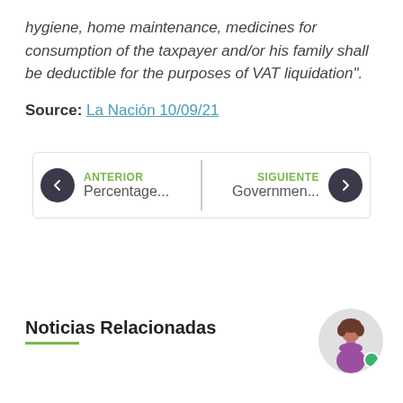hygiene, home maintenance, medicines for consumption of the taxpayer and/or his family shall be deductible for the purposes of VAT liquidation".
Source: La Nación 10/09/21
ANTERIOR Percentage... | SIGUIENTE Governmen...
Noticias Relacionadas